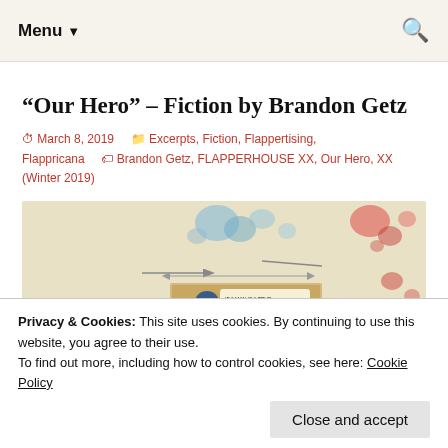Menu ▼
“Our Hero” – Fiction by Brandon Getz
March 8, 2019   Excerpts, Fiction, Flappertising, Flappricana   Brandon Getz, FLAPPERHOUSE XX, Our Hero, XX (Winter 2019)
[Figure (illustration): A comic book / art illustration on a beige background with blue and red watercolor-like splatter shapes and a vintage comic strip panel in the center showing a superhero character with an exclamation in the style of a 1960s comic.]
Privacy & Cookies: This site uses cookies. By continuing to use this website, you agree to their use.
To find out more, including how to control cookies, see here: Cookie Policy